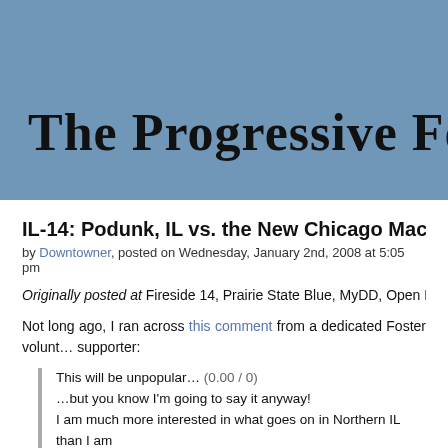The Progressive Fox
IL-14: Podunk, IL vs. the New Chicago Machi…
by Downtowner, posted on Wednesday, January 2nd, 2008 at 5:05 pm
Originally posted at Fireside 14, Prairie State Blue, MyDD, Open Left and Da…
Not long ago, I ran across this comment from a dedicated Foster volunteer and supporter:
This will be unpopular… (0.00 / 0)
…but you know I'm going to say it anyway!
I am much more interested in what goes on in Northern IL than I am what happens downstate. With work, I get more than my fill of politics…